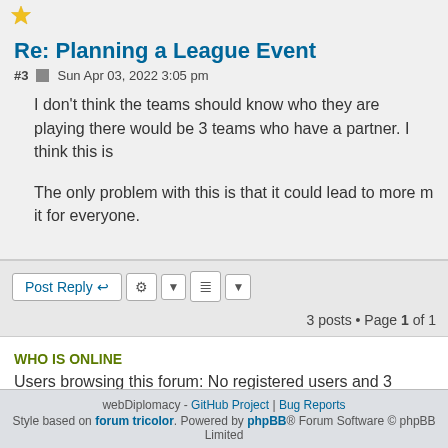[Figure (illustration): Gold/yellow star icon at top left of post]
Re: Planning a League Event
#3  Sun Apr 03, 2022 3:05 pm
I don't think the teams should know who they are playing there would be 3 teams who have a partner. I think this is
The only problem with this is that it could lead to more m it for everyone.
3 posts • Page 1 of 1
WHO IS ONLINE
Users browsing this forum: No registered users and 3 guests
webDiplomacy - GitHub Project | Bug Reports Style based on forum tricolor. Powered by phpBB® Forum Software © phpBB Limited